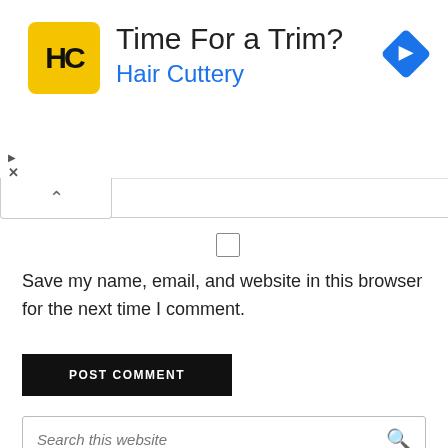[Figure (screenshot): Advertisement banner for Hair Cuttery with yellow logo, text 'Time For a Trim?' and 'Hair Cuttery', and a blue diamond navigation icon]
Save my name, email, and website in this browser for the next time I comment.
[Figure (screenshot): Black 'POST COMMENT' button]
[Figure (screenshot): Search bar with italic placeholder text 'Search this website' and search icon]
[Figure (photo): Blue and white inflatable object or product partially visible at bottom of page]